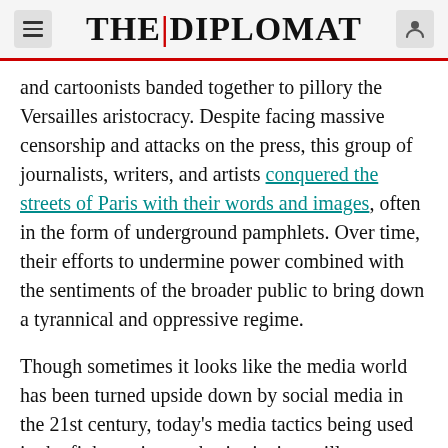THE DIPLOMAT
and cartoonists banded together to pillory the Versailles aristocracy. Despite facing massive censorship and attacks on the press, this group of journalists, writers, and artists conquered the streets of Paris with their words and images, often in the form of underground pamphlets. Over time, their efforts to undermine power combined with the sentiments of the broader public to bring down a tyrannical and oppressive regime.
Though sometimes it looks like the media world has been turned upside down by social media in the 21st century, today's media tactics being used in the fight against authoritarianism still convey satire and irony in words and images. In Myanmar, a country much of the world still knows as Burma, the media is determined to get the news out and, in